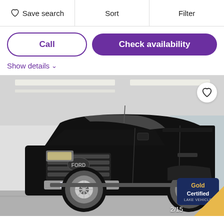Save search | Sort | Filter
Call
Check availability
Show details
[Figure (photo): Black Ford F-150 pickup truck photographed inside a dealership showroom. A Gold Certified Lake Vehicle badge is visible in the lower right corner. A heart/favorite icon button is in the upper right of the image. Image counter shows 2/15.]